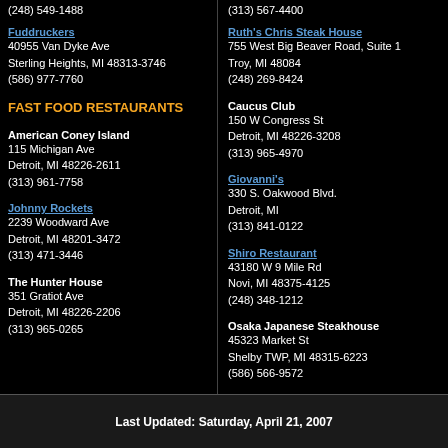(248) 549-1488
Fuddruckers
40955 Van Dyke Ave
Sterling Heights, MI 48313-3746
(586) 977-7760
FAST FOOD RESTAURANTS
American Coney Island
115 Michigan Ave
Detroit, MI 48226-2611
(313) 961-7758
Johnny Rockets
2239 Woodward Ave
Detroit, MI 48201-3472
(313) 471-3446
The Hunter House
351 Gratiot Ave
Detroit, MI 48226-2206
(313) 965-0265
(313) 567-4400
Ruth's Chris Steak House
755 West Big Beaver Road, Suite 1
Troy, MI 48084
(248) 269-8424
Caucus Club
150 W Congress St
Detroit, MI 48226-3208
(313) 965-4970
Giovanni's
330 S. Oakwood Blvd.
Detroit, MI
(313) 841-0122
Shiro Restaurant
43180 W 9 Mile Rd
Novi, MI 48375-4125
(248) 348-1212
Osaka Japanese Steakhouse
45323 Market St
Shelby TWP, MI 48315-6223
(586) 566-9572
Last Updated: Saturday, April 21, 2007